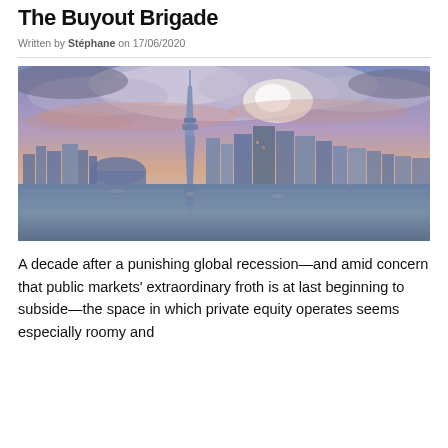The Buyout Brigade
Written by Stéphane on 17/06/2020
[Figure (photo): Toronto city skyline at sunset reflected on water, with the CN Tower prominent in the center, dramatic purple and pink clouds in the sky.]
A decade after a punishing global recession—and amid concern that public markets' extraordinary froth is at last beginning to subside—the space in which private equity operates seems especially roomy and